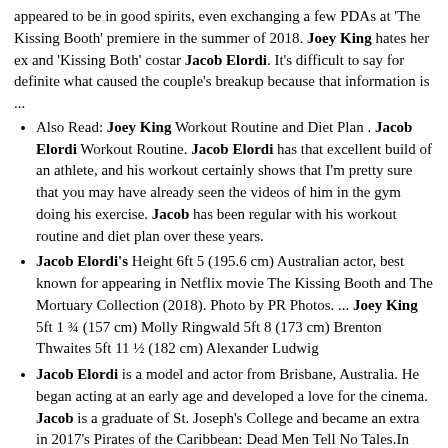appeared to be in good spirits, even exchanging a few PDAs at 'The Kissing Booth' premiere in the summer of 2018. Joey King hates her ex and 'Kissing Both' costar Jacob Elordi. It's difficult to say for definite what caused the couple's breakup because that information is ...
Also Read: Joey King Workout Routine and Diet Plan . Jacob Elordi Workout Routine. Jacob Elordi has that excellent build of an athlete, and his workout certainly shows that I'm pretty sure that you may have already seen the videos of him in the gym doing his exercise. Jacob has been regular with his workout routine and diet plan over these years.
Jacob Elordi's Height 6ft 5 (195.6 cm) Australian actor, best known for appearing in Netflix movie The Kissing Booth and The Mortuary Collection (2018). Photo by PR Photos. ... Joey King 5ft 1 ¾ (157 cm) Molly Ringwald 5ft 8 (173 cm) Brenton Thwaites 5ft 11 ½ (182 cm) Alexander Ludwig
Jacob Elordi is a model and actor from Brisbane, Australia. He began acting at an early age and developed a love for the cinema. Jacob is a graduate of St. Joseph's College and became an extra in 2017's Pirates of the Caribbean: Dead Men Tell No Tales.In 2018, he landed his breakout role opposite Joey King in the Netflix romantic comedy The Kissing Booth, leading